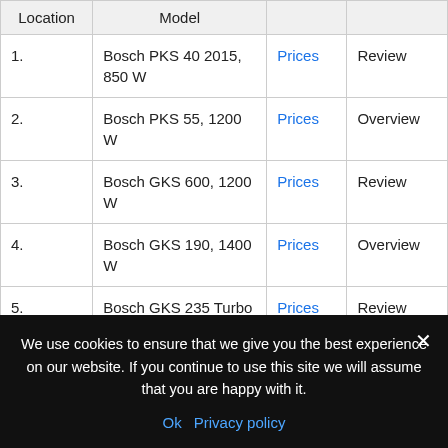| Location | Model |  |  |
| --- | --- | --- | --- |
| 1. | Bosch PKS 40 2015, 850 W | Prices | Review |
| 2. | Bosch PKS 55, 1200 W | Prices | Overview |
| 3. | Bosch GKS 600, 1200 W | Prices | Review |
| 4. | Bosch GKS 190, 1400 W | Prices | Overview |
| 5. | Bosch GKS 235 Turbo 06015A201 | Prices | Review |
| 6. | Makita HS7601 | Prices | Review |
We use cookies to ensure that we give you the best experience on our website. If you continue to use this site we will assume that you are happy with it.
Ok  Privacy policy